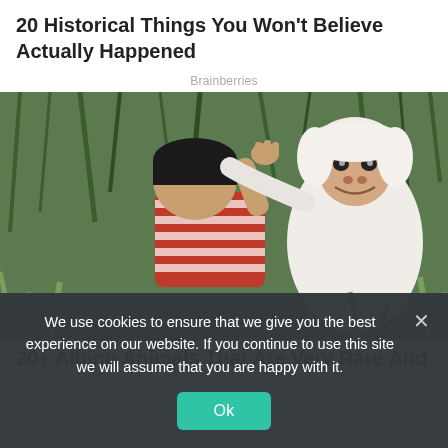20 Historical Things You Won't Believe Actually Happened
Brainberries
[Figure (photo): A boy in a red and white striped shirt crouching in tall green grass, holding a white albino monkey/gorilla which is looking at the camera]
20+ Albino Animals That Are Very Rare And
We use cookies to ensure that we give you the best experience on our website. If you continue to use this site we will assume that you are happy with it.